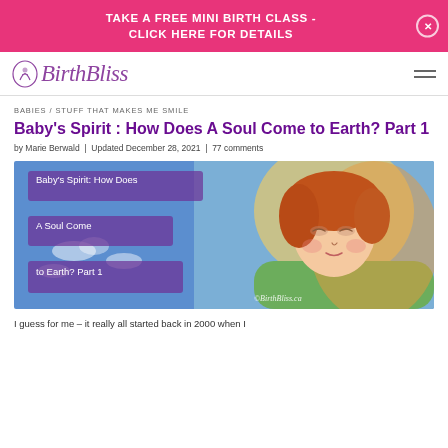TAKE A FREE MINI BIRTH CLASS - CLICK HERE FOR DETAILS
[Figure (logo): BirthBliss logo in purple italic script with a leaf/flourish icon]
BABIES / STUFF THAT MAKES ME SMILE
Baby's Spirit : How Does A Soul Come to Earth? Part 1
by Marie Berwald | Updated December 28, 2021 | 77 comments
[Figure (illustration): Illustrated image of a serene baby/angel face with auburn hair against a blue sky with clouds. Text overlays read: 'Baby's Spirit: How Does A Soul Come to Earth? Part 1'. Watermark: ©BirthBliss.ca]
I guess for me – it really all started back in 2000 when I